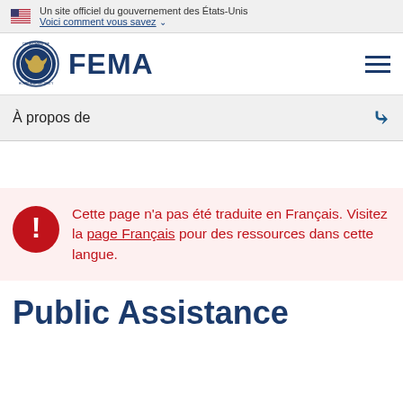Un site officiel du gouvernement des États-Unis
Voici comment vous savez
[Figure (logo): FEMA logo with DHS seal and FEMA wordmark]
À propos de
Cette page n'a pas été traduite en Français. Visitez la page Français pour des ressources dans cette langue.
Public Assistance